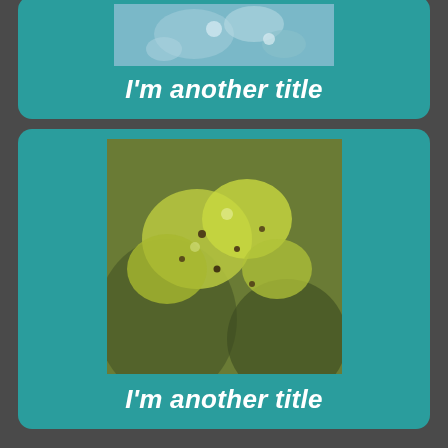[Figure (photo): Partial teal card at top with a blurry blue/teal water droplet macro photo and bold italic white title 'I'm another title']
I'm another title
[Figure (photo): Teal card with a macro photo of yellow-green flowering plant/lichen and bold italic white title 'I'm another title']
I'm another title
I'm a paragraph. Click here to add your own text and edit me. I'm a great place for you to tell a story and let your users know a little more about you.
This is a great space to write long text about your company and your services. You can use this space to go into a little